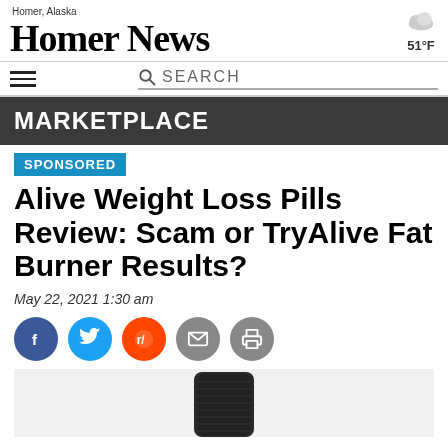Homer, Alaska — HOMER NEWS — 51°F
MARKETPLACE
SPONSORED
Alive Weight Loss Pills Review: Scam or TryAlive Fat Burner Results?
May 22, 2021 1:30 am
[Figure (infographic): Social share icons: Facebook (blue), Twitter (blue), Reddit (orange), Email (grey), Print (grey)]
[Figure (photo): Partial product image of a dark cylindrical container on a light grey background]